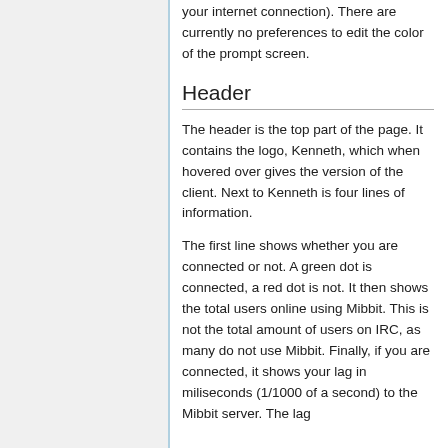your internet connection). There are currently no preferences to edit the color of the prompt screen.
Header
The header is the top part of the page. It contains the logo, Kenneth, which when hovered over gives the version of the client. Next to Kenneth is four lines of information.
The first line shows whether you are connected or not. A green dot is connected, a red dot is not. It then shows the total users online using Mibbit. This is not the total amount of users on IRC, as many do not use Mibbit. Finally, if you are connected, it shows your lag in miliseconds (1/1000 of a second) to the Mibbit server. The lag